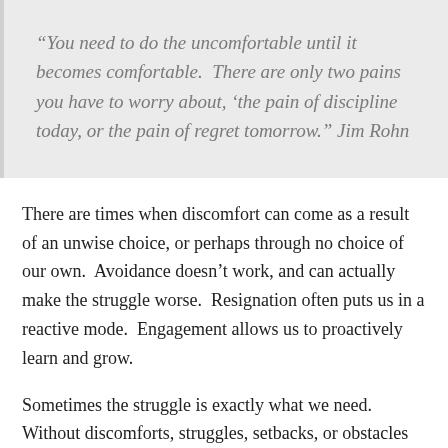“You need to do the uncomfortable until it becomes comfortable.  There are only two pains you have to worry about, ‘the pain of discipline today, or the pain of regret tomorrow.” Jim Rohn
There are times when discomfort can come as a result of an unwise choice, or perhaps through no choice of our own.  Avoidance doesn’t work, and can actually make the struggle worse.  Resignation often puts us in a reactive mode.  Engagement allows us to proactively learn and grow.
Sometimes the struggle is exactly what we need.  Without discomforts, struggles, setbacks, or obstacles